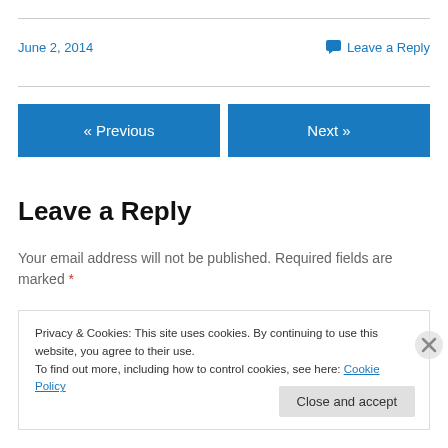June 2, 2014
Leave a Reply
« Previous
Next »
Leave a Reply
Your email address will not be published. Required fields are marked *
Privacy & Cookies: This site uses cookies. By continuing to use this website, you agree to their use.
To find out more, including how to control cookies, see here: Cookie Policy
Close and accept